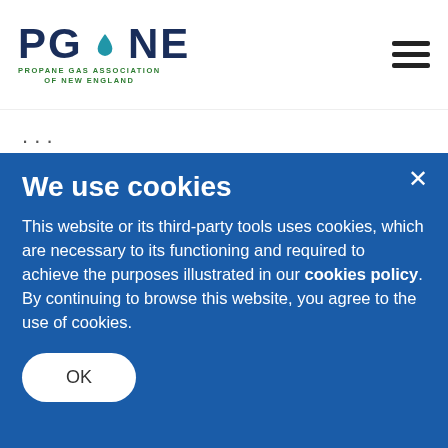PGANE - PROPANE GAS ASSOCIATION OF NEW ENGLAND
When looking for areas to reduce emissions, it's important for warehouse and facility managers to consider the equipment and energy sources used on-site every day. Fortunately, propane forklifts
We use cookies
This website or its third-party tools uses cookies, which are necessary to its functioning and required to achieve the purposes illustrated in our cookies policy. By continuing to browse this website, you agree to the use of cookies.
OK